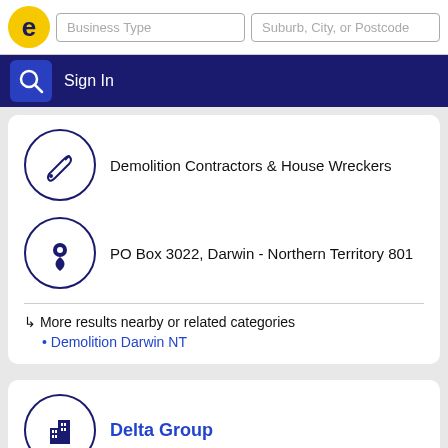Business Type | Suburb, City, or Postcode | Sign In
Demolition Contractors & House Wreckers
PO Box 3022, Darwin - Northern Territory 801
↳ More results nearby or related categories
Demolition Darwin NT
Delta Group
Darwin
Call 03 96468377